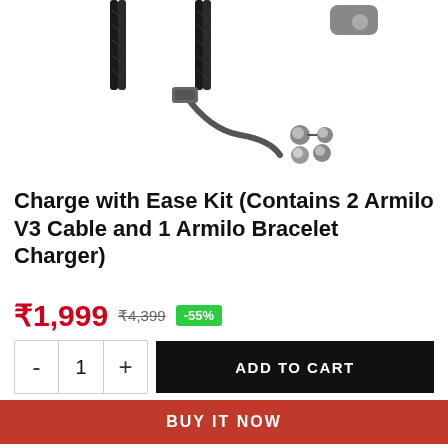[Figure (photo): Product image showing Armilo V3 charging cables (two dark braided cables) and a magnetic connector kit with multiple adapter tips, displayed on white background.]
Charge with Ease Kit (Contains 2 Armilo V3 Cable and 1 Armilo Bracelet Charger)
₹1,999  ₹4,399  -55%
- 1 +  ADD TO CART
BUY IT NOW